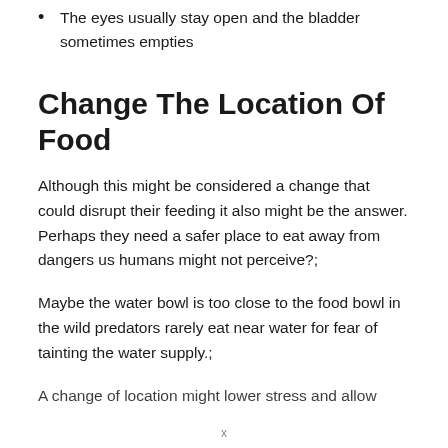The eyes usually stay open and the bladder sometimes empties
Change The Location Of Food
Although this might be considered a change that could disrupt their feeding it also might be the answer. Perhaps they need a safer place to eat away from dangers us humans might not perceive?;
Maybe the water bowl is too close to the food bowl in the wild predators rarely eat near water for fear of tainting the water supply.;
A change of location might lower stress and allow eating to